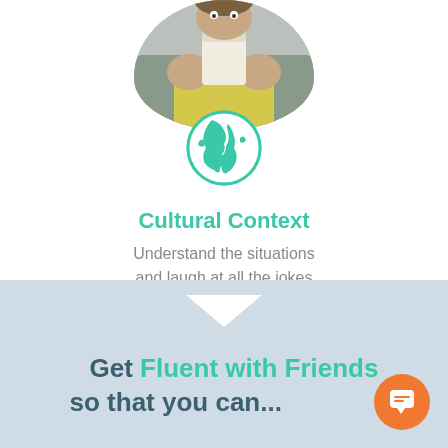[Figure (photo): Person holding a cup, cropped in circular frame at top]
[Figure (illustration): Teal globe icon]
Cultural Context
Understand the situations and laugh at all the jokes
Get Fluent with Friends so that you can...